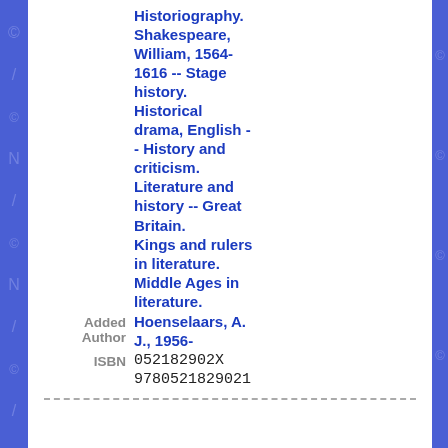Historiography. Shakespeare, William, 1564-1616 -- Stage history. Historical drama, English -- History and criticism. Literature and history -- Great Britain. Kings and rulers in literature. Middle Ages in literature.
Added Author: Hoenselaars, A. J., 1956-
ISBN: 052182902X 9780521829021